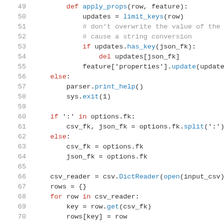Code listing lines 49-71, Python source code showing apply_props function and CSV reader logic